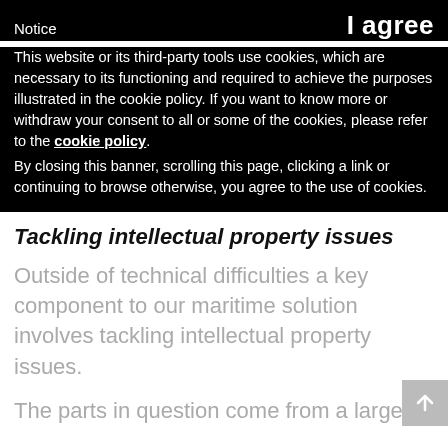Notice | agree
This website or its third-party tools use cookies, which are necessary to its functioning and required to achieve the purposes illustrated in the cookie policy. If you want to know more or withdraw your consent to all or some of the cookies, please refer to the cookie policy.
By closing this banner, scrolling this page, clicking a link or continuing to browse otherwise, you agree to the use of cookies.
Tackling intellectual property issues
Outside of technical difficulties a key component to our maritime solution involves tackling intellectual property issues.
The parts in question come from a large